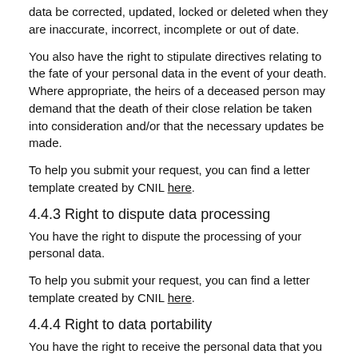data be corrected, updated, locked or deleted when they are inaccurate, incorrect, incomplete or out of date.
You also have the right to stipulate directives relating to the fate of your personal data in the event of your death. Where appropriate, the heirs of a deceased person may demand that the death of their close relation be taken into consideration and/or that the necessary updates be made.
To help you submit your request, you can find a letter template created by CNIL here.
4.4.3 Right to dispute data processing
You have the right to dispute the processing of your personal data.
To help you submit your request, you can find a letter template created by CNIL here.
4.4.4 Right to data portability
You have the right to receive the personal data that you have provided to us in a transferable, open, readable format.